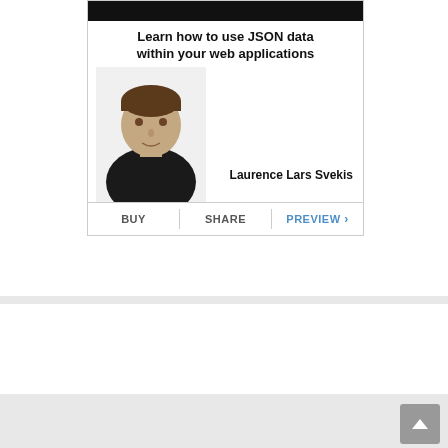[Figure (screenshot): Book or course cover card showing title 'Learn how to use JSON data within your web applications' by Laurence Lars Svekis, with a photo of the author, and action buttons BUY, SHARE, PREVIEW at the bottom]
BUY | SHARE | PREVIEW